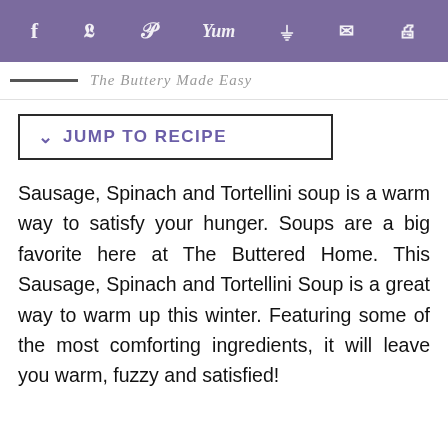Social share icons: facebook, twitter, pinterest, yummly, flipboard, email, print
The Buttery Made Easy
JUMP TO RECIPE
Sausage, Spinach and Tortellini soup is a warm way to satisfy your hunger. Soups are a big favorite here at The Buttered Home. This Sausage, Spinach and Tortellini Soup is a great way to warm up this winter. Featuring some of the most comforting ingredients, it will leave you warm, fuzzy and satisfied!